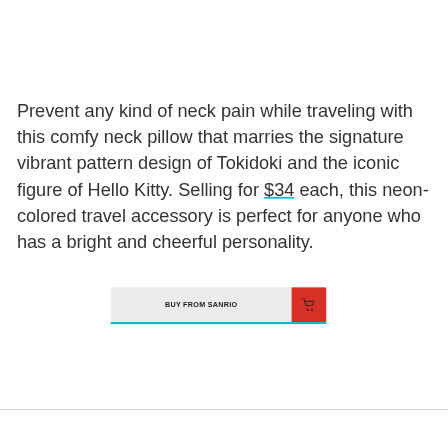Prevent any kind of neck pain while traveling with this comfy neck pillow that marries the signature vibrant pattern design of Tokidoki and the iconic figure of Hello Kitty. Selling for $34 each, this neon-colored travel accessory is perfect for anyone who has a bright and cheerful personality.
[Figure (other): A button labeled 'BUY FROM SANRIO' with a light gray background and a red section on the right containing a shopping cart icon, with a cyan underline below the button.]